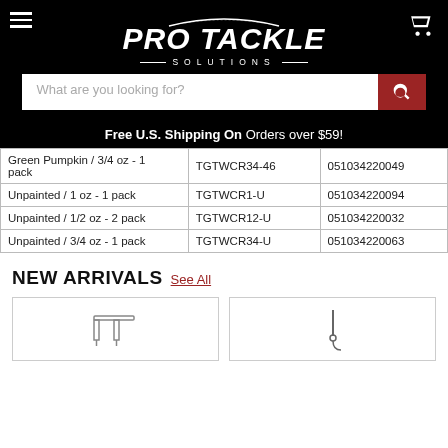[Figure (logo): Pro Tackle Solutions logo with fishing rod arc, italic bold white text on black background]
What are you looking for?
Free U.S. Shipping On Orders over $59!
| Green Pumpkin / 3/4 oz - 1 pack | TGTWCR34-46 | 051034220049 |
| Unpainted / 1 oz - 1 pack | TGTWCR1-U | 051034220094 |
| Unpainted / 1/2 oz - 2 pack | TGTWCR12-U | 051034220032 |
| Unpainted / 3/4 oz - 1 pack | TGTWCR34-U | 051034220063 |
NEW ARRIVALS See All
[Figure (photo): Product thumbnail image showing fishing hook/jig hardware on white background]
[Figure (photo): Product thumbnail image showing fishing tackle on white background]